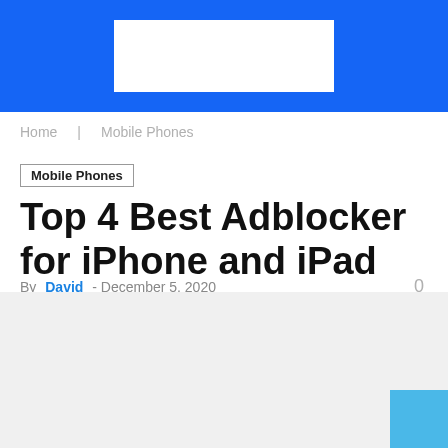[Figure (other): Blue header banner with white logo/advertisement box in center]
Home   Mobile Phones
Mobile Phones
Top 4 Best Adblocker for iPhone and iPad
By David - December 5, 2020   0
[Figure (other): Light gray content area placeholder with small blue box in bottom-right corner]